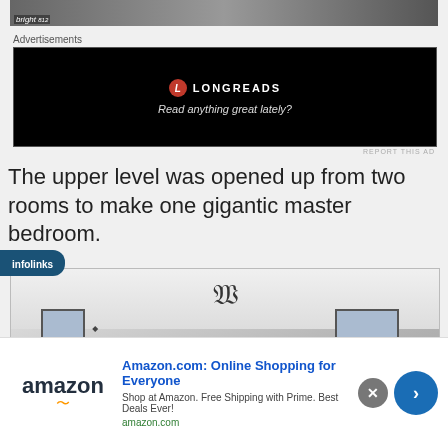[Figure (photo): Top strip of a photo, partially visible, with 'bright' text label in bottom-left corner]
Advertisements
[Figure (screenshot): Longreads advertisement banner on black background with logo and tagline 'Read anything great lately?']
REPORT THIS AD
The upper level was opened up from two rooms to make one gigantic master bedroom.
[Figure (photo): Interior photo of a large master bedroom with vaulted ceiling, chandelier, windows, door, and decorative railing]
[Figure (screenshot): Amazon.com advertisement banner: 'Amazon.com: Online Shopping for Everyone' - Shop at Amazon. Free Shipping with Prime. Best Deals Ever! - amazon.com]